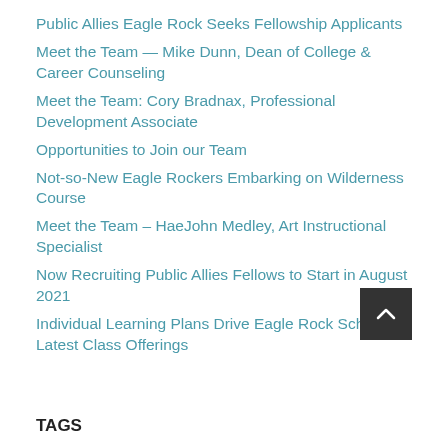Public Allies Eagle Rock Seeks Fellowship Applicants
Meet the Team — Mike Dunn, Dean of College & Career Counseling
Meet the Team: Cory Bradnax, Professional Development Associate
Opportunities to Join our Team
Not-so-New Eagle Rockers Embarking on Wilderness Course
Meet the Team – HaeJohn Medley, Art Instructional Specialist
Now Recruiting Public Allies Fellows to Start in August 2021
Individual Learning Plans Drive Eagle Rock School's Latest Class Offerings
TAGS
Anastacia Galloway  Anastacia Galloway Reed  Anna Magle-Haberek  Aspen House  Big Picture Learning  Brett